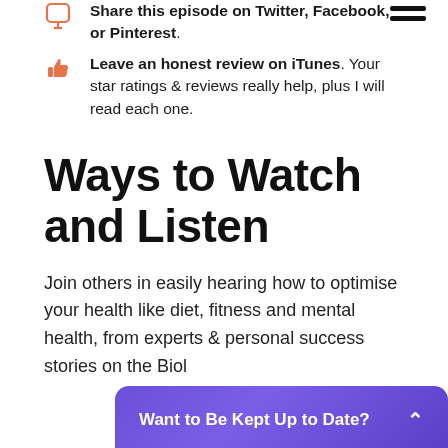Share this episode on Twitter, Facebook, or Pinterest.
Leave an honest review on iTunes. Your star ratings & reviews really help, plus I will read each one.
Ways to Watch and Listen
Join others in easily hearing how to optimise your health like diet, fitness and mental health, from experts & personal success stories on the Biol...
Want to Be Kept Up to Date?